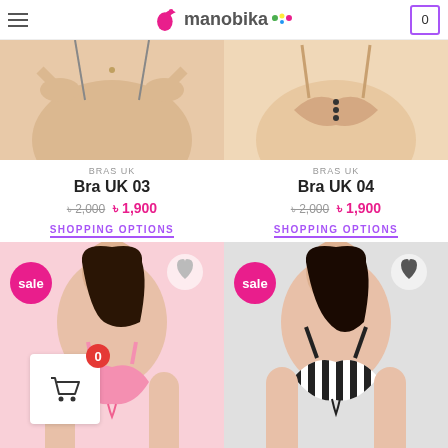manobika
[Figure (photo): Product photo of Bra UK 03 - pink bra worn by model, top portion cropped]
BRAS UK
Bra UK 03
৳2,000  ৳ 1,900
SHOPPING OPTIONS
[Figure (photo): Product photo of Bra UK 04 - beige bra with lacing worn by model, top portion cropped]
BRAS UK
Bra UK 04
৳2,000  ৳ 1,900
SHOPPING OPTIONS
[Figure (photo): Product photo of bra - model wearing pink push-up bra with lace-up front, sale badge shown]
BRAS UK
[Figure (photo): Product photo of bra - model wearing black and white striped bra with tie-front, sale badge shown]
BRAS UK